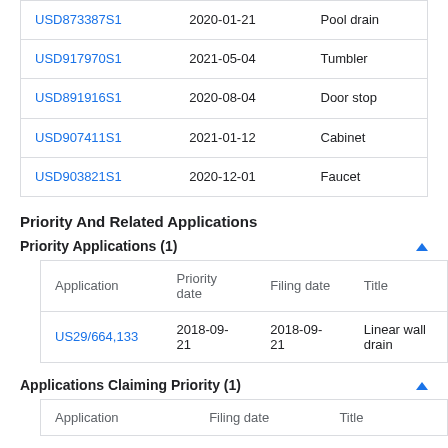|  |  |  |
| --- | --- | --- |
| USD873387S1 | 2020-01-21 | Pool drain |
| USD917970S1 | 2021-05-04 | Tumbler |
| USD891916S1 | 2020-08-04 | Door stop |
| USD907411S1 | 2021-01-12 | Cabinet |
| USD903821S1 | 2020-12-01 | Faucet |
Priority And Related Applications
Priority Applications (1)
| Application | Priority date | Filing date | Title |
| --- | --- | --- | --- |
| US29/664,133 | 2018-09-21 | 2018-09-21 | Linear wall drain |
Applications Claiming Priority (1)
| Application | Filing date | Title |
| --- | --- | --- |